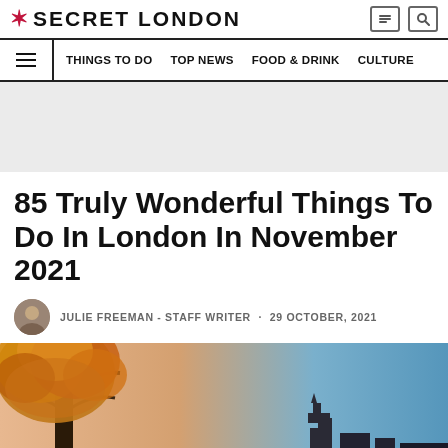SECRET LONDON
THINGS TO DO · TOP NEWS · FOOD & DRINK · CULTURE
[Figure (other): Gray advertisement placeholder banner]
85 Truly Wonderful Things To Do In London In November 2021
JULIE FREEMAN - STAFF WRITER · 29 OCTOBER, 2021
[Figure (photo): Autumn scene in London with a large orange-leaved tree and skyline with Big Ben in the background at dusk]